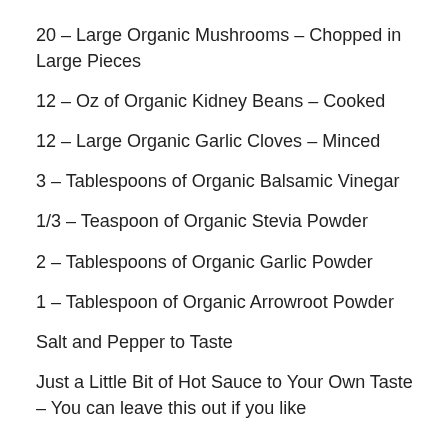20 – Large Organic Mushrooms – Chopped in Large Pieces
12 – Oz of Organic Kidney Beans – Cooked
12 – Large Organic Garlic Cloves – Minced
3 – Tablespoons of Organic Balsamic Vinegar
1/3 – Teaspoon of Organic Stevia Powder
2 – Tablespoons of Organic Garlic Powder
1 – Tablespoon of Organic Arrowroot Powder
Salt and Pepper to Taste
Just a Little Bit of Hot Sauce to Your Own Taste – You can leave this out if you like